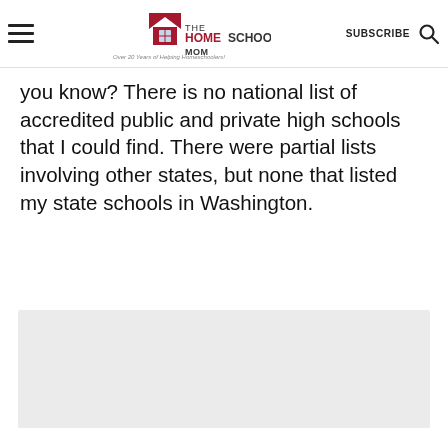THE HOMESCHOOL MOM — Over 20 Years of Helping Homeschoolers! | SUBSCRIBE
you know? There is no national list of accredited public and private high schools that I could find. There were partial lists involving other states, but none that listed my state schools in Washington.
[Figure (other): Gray advertisement/placeholder block]